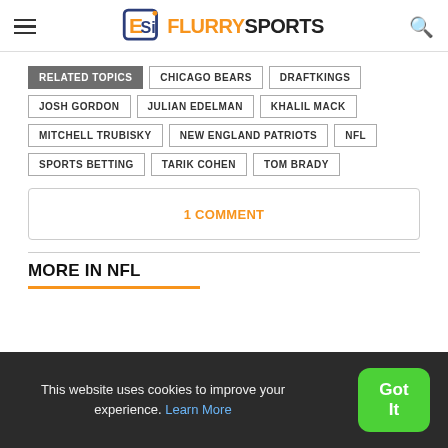Flurry Sports
RELATED TOPICS
CHICAGO BEARS
DRAFTKINGS
JOSH GORDON
JULIAN EDELMAN
KHALIL MACK
MITCHELL TRUBISKY
NEW ENGLAND PATRIOTS
NFL
SPORTS BETTING
TARIK COHEN
TOM BRADY
1 COMMENT
MORE IN NFL
This website uses cookies to improve your experience. Learn More
Got It